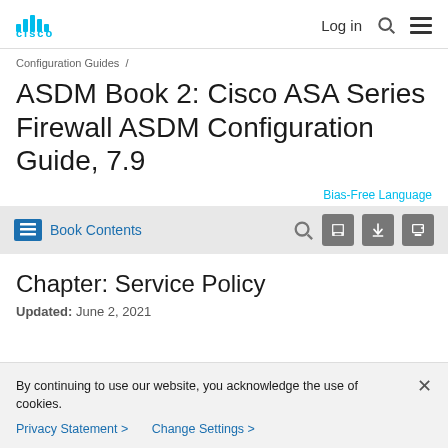Cisco | Log in | Search | Menu
Configuration Guides /
ASDM Book 2: Cisco ASA Series Firewall ASDM Configuration Guide, 7.9
Bias-Free Language
Book Contents
Chapter: Service Policy
Updated: June 2, 2021
By continuing to use our website, you acknowledge the use of cookies.
Privacy Statement > Change Settings >